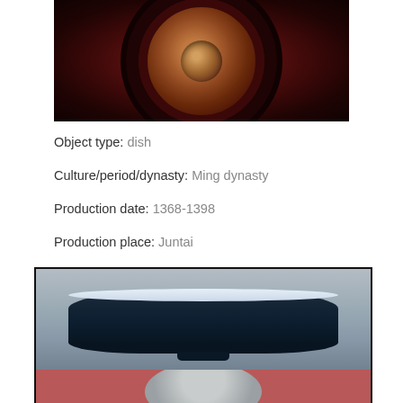[Figure (photo): Bottom view of a ceramic dish with dark reddish-brown glaze, showing the unglazed foot ring and base of a Ming dynasty Jun ware dish.]
Object type: dish
Culture/period/dynasty: Ming dynasty
Production date: 1368-1398
Production place: Juntai
[Figure (photo): Side profile view of a dark cobalt blue glazed dish on a low foot ring, with white rim, against a grey background. Partially cropped at the bottom showing another vessel.]